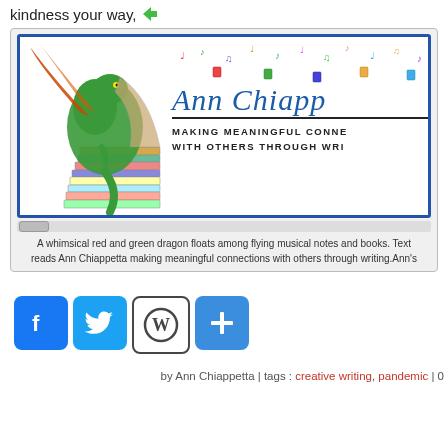kindness your way,
[Figure (illustration): A whimsical red and green dragon floats among flying musical notes and books. Text reads Ann Chiappetta making meaningful connections with others through writing. Ann's blog logo/banner image.]
A whimsical red and green dragon floats among flying musical notes and books. Text reads Ann Chiappetta making meaningful connections with others through writing. Ann's
[Figure (infographic): Row of social media sharing icons: Facebook (blue f), Twitter (blue bird), WordPress (black W circle), and a blue plus/add button.]
by Ann Chiappetta | tags : creative writing, pandemic | 0